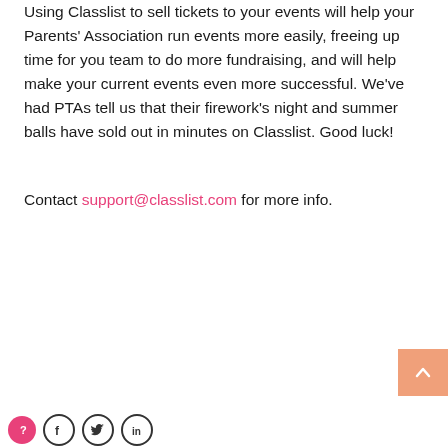Using Classlist to sell tickets to your events will help your Parents' Association run events more easily, freeing up time for you team to do more fundraising, and will help make your current events even more successful. We've had PTAs tell us that their firework's night and summer balls have sold out in minutes on Classlist. Good luck!
Contact support@classlist.com for more info.
[Figure (other): Scroll-to-top button (orange/salmon square with upward chevron arrow) in bottom right corner, and social/help icons in bottom left corner including a pink help circle, Facebook, Twitter, and LinkedIn circle icons.]